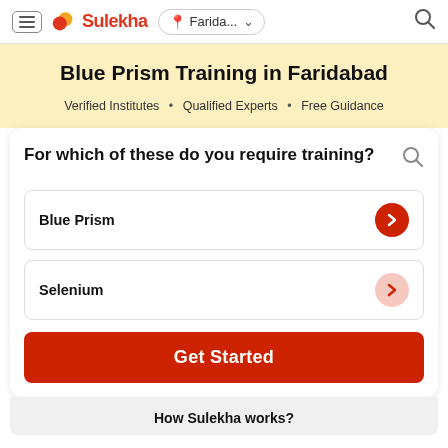Sulekha — Farida...
Blue Prism Training in Faridabad
Verified Institutes • Qualified Experts • Free Guidance
For which of these do you require training?
Blue Prism
Selenium
Get Started
How Sulekha works?